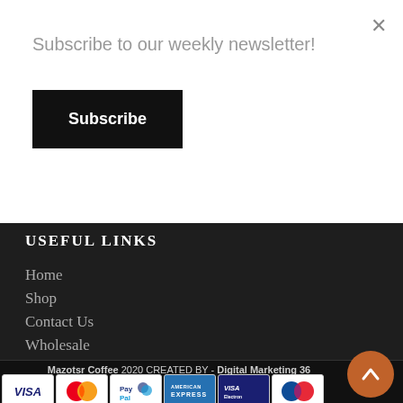Subscribe to our weekly newsletter!
Subscribe
USEFUL LINKS
Home
Shop
Contact Us
Wholesale
Mazotsr Coffee 2020 CREATED BY - Digital Marketing 36
[Figure (other): Payment method icons: VISA, MasterCard, PayPal, American Express, VISA Electron, Maestro]
[Figure (other): Orange scroll-to-top button with upward chevron arrow]